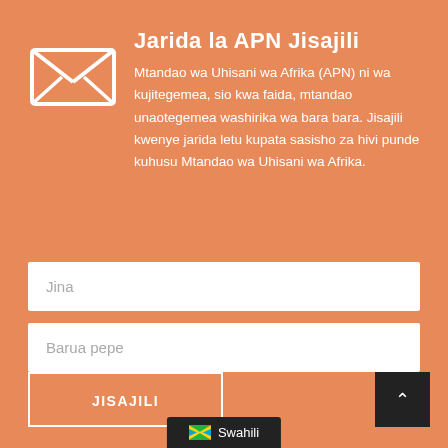[Figure (illustration): Envelope/mail icon — white outline envelope with X cross lines on orange background]
Jarida la APN Jisajili
Mtandao wa Uhisani wa Afrika (APN) ni wa kujitegemea, sio kwa faida, mtandao unaotegemea washirika wa bara bara. Jisajili kwenye jarida letu kupata sasisho za hivi punde kuhusu Mtandao wa Uhisani wa Afrika.
Jina
Barua pepe
JISAJILI
Swahili